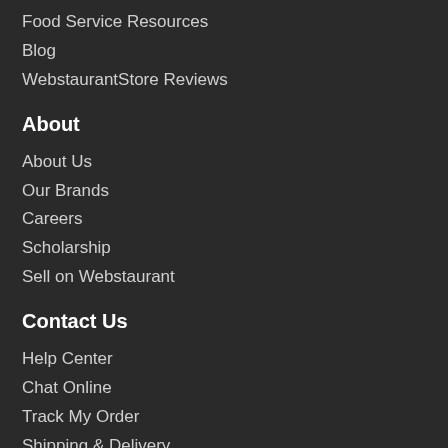Food Service Resources
Blog
WebstaurantStore Reviews
About
About Us
Our Brands
Careers
Scholarship
Sell on Webstaurant
Contact Us
Help Center
Chat Online
Track My Order
Shipping & Delivery
Return Policy
Privacy & Use
Terms of Sale
Privacy Policy